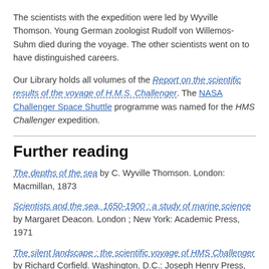The scientists with the expedition were led by Wyville Thomson. Young German zoologist Rudolf von Willemos-Suhm died during the voyage. The other scientists went on to have distinguished careers.
Our Library holds all volumes of the Report on the scientific results of the voyage of H.M.S. Challenger. The NASA Challenger Space Shuttle programme was named for the HMS Challenger expedition.
Further reading
The depths of the sea by C. Wyville Thomson. London: Macmillan, 1873
Scientists and the sea, 1650-1900 : a study of marine science by Margaret Deacon. London ; New York: Academic Press, 1971
The silent landscape : the scientific voyage of HMS Challenger by Richard Corfield. Washington, D.C.: Joseph Henry Press, 2003
Footnotes
1. Vol. 1, pt. 1 p.12 ↵